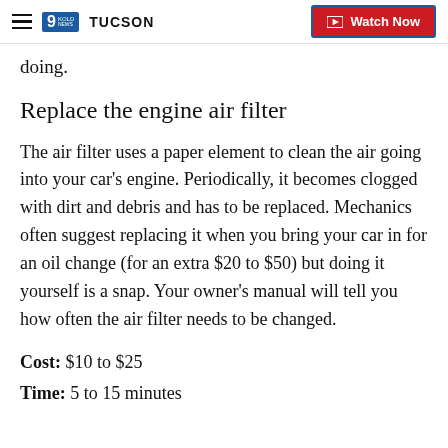9 TUCSON | Watch Now
doing.
Replace the engine air filter
The air filter uses a paper element to clean the air going into your car’s engine. Periodically, it becomes clogged with dirt and debris and has to be replaced. Mechanics often suggest replacing it when you bring your car in for an oil change (for an extra $20 to $50) but doing it yourself is a snap. Your owner’s manual will tell you how often the air filter needs to be changed.
Cost: $10 to $25
Time: 5 to 15 minutes